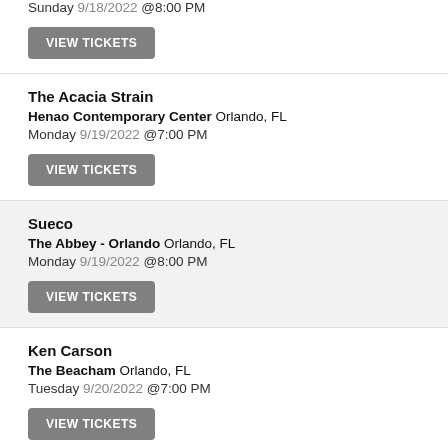Sunday 9/18/2022 @8:00 PM
VIEW TICKETS
The Acacia Strain
Henao Contemporary Center Orlando, FL
Monday 9/19/2022 @7:00 PM
VIEW TICKETS
Sueco
The Abbey - Orlando Orlando, FL
Monday 9/19/2022 @8:00 PM
VIEW TICKETS
Ken Carson
The Beacham Orlando, FL
Tuesday 9/20/2022 @7:00 PM
VIEW TICKETS